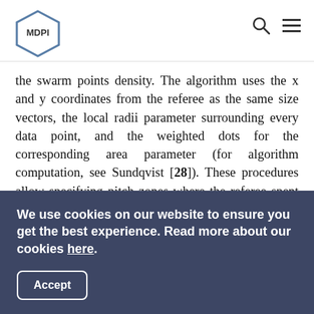MDPI
the swarm points density. The algorithm uses the x and y coordinates from the referee as the same size vectors, the local radii parameter surrounding every data point, and the weighted dots for the corresponding area parameter (for algorithm computation, see Sundqvist [28]). These procedures allow specifying pitch zones where the referee spent the most time (i.e., positioning density) and provide a visual perspective of the referee displacement across the game.
	A PCA was applied to identify the referee position variability during the match, using the referee's mean position on the pitch. The dataset consisted of one matrix for the referee (x(i), y(i)), where x(i) and y(i) represent the coordinates on the pitch during
We use cookies on our website to ensure you get the best experience. Read more about our cookies here. Accept